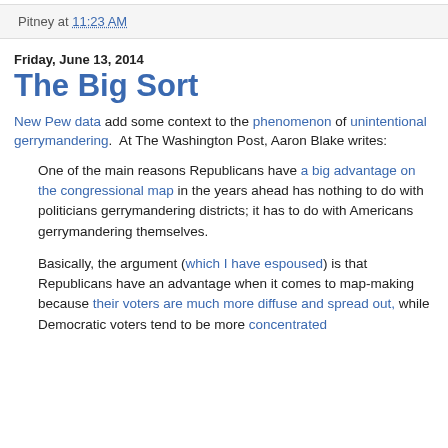Pitney at 11:23 AM
Friday, June 13, 2014
The Big Sort
New Pew data add some context to the phenomenon of unintentional gerrymandering.  At The Washington Post, Aaron Blake writes:
One of the main reasons Republicans have a big advantage on the congressional map in the years ahead has nothing to do with politicians gerrymandering districts; it has to do with Americans gerrymandering themselves.
Basically, the argument (which I have espoused) is that Republicans have an advantage when it comes to map-making because their voters are much more diffuse and spread out, while Democratic voters tend to be more concentrated